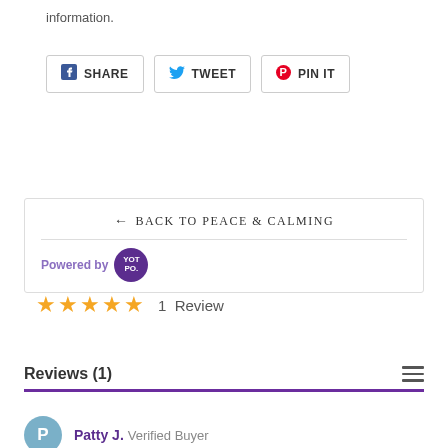information.
SHARE
TWEET
PIN IT
← BACK TO PEACE & CALMING
Powered by YOTPO.
★★★★★ 1 Review
Reviews (1)
Patty J. Verified Buyer